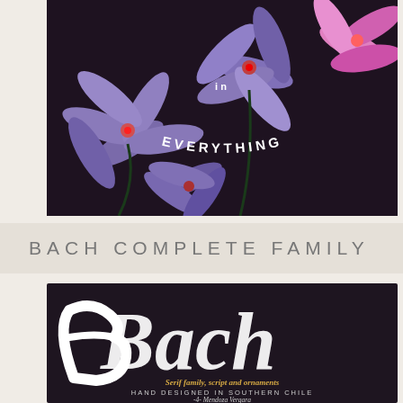[Figure (photo): Dark floral photo with purple flowers and text overlay reading 'in EVERYTHING' in white, arched lettering on a dark background]
BACH COMPLETE FAMILY
[Figure (illustration): Dark background promotional graphic for 'Bach' font showing large white brush-script lettering 'Bach' with subtitle text 'Serif family, script and ornaments HAND DESIGNED IN SOUTHERN CHILE 4- Mendoza Vergara' in golden/cream colored text]